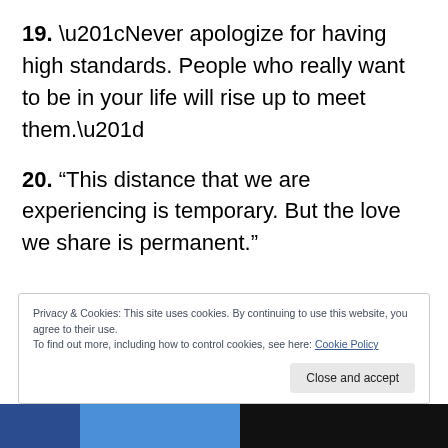19. “Never apologize for having high standards. People who really want to be in your life will rise up to meet them.”
20. “This distance that we are experiencing is temporary. But the love we share is permanent.”
Privacy & Cookies: This site uses cookies. By continuing to use this website, you agree to their use.
To find out more, including how to control cookies, see here: Cookie Policy
Close and accept